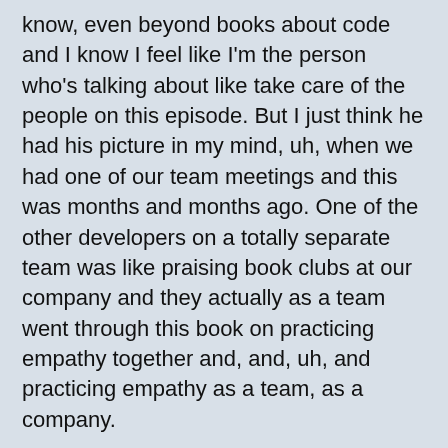know, even beyond books about code and I know I feel like I'm the person who's talking about like take care of the people on this episode. But I just think he had his picture in my mind, uh, when we had one of our team meetings and this was months and months ago. One of the other developers on a totally separate team was like praising book clubs at our company and they actually as a team went through this book on practicing empathy together and, and, uh, and practicing empathy as a team, as a company.
Kris Van Houten - 25:50 - And like she was up there on stage crying or shedding tears because of like what this book has impacted in their, in their team and as they work with other teams in the company and how it's been so beneficial and so educational for them. And I just like, Whoa, this isn't just about learning code. Like this is about helping people be better people. And you know, in a lot of this, you know, I don't know if her book club, that booklet that she was a part of was